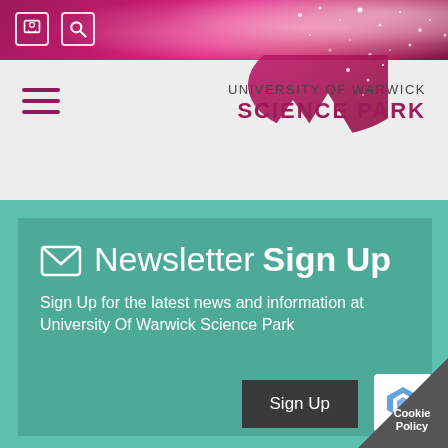[Figure (screenshot): University of Warwick Science Park website screenshot showing newsletter sign-up page. Pink/magenta banner at top with phone and search icons, mountain logo graphic, hamburger menu, university logo text, and teal newsletter sign-up section.]
UNIVERSITY OF WARWICK SCIENCE PARK
Newsletter Sign Up
Sign Up for the latest news and information at University Of Warwick Science Park
Sign Up
Cookie Policy